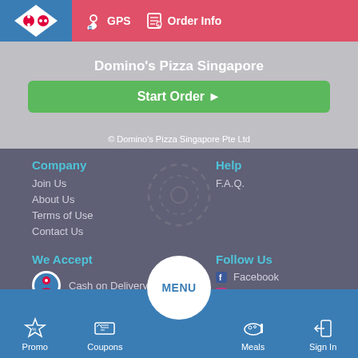[Figure (screenshot): Domino's Pizza Singapore app screenshot showing top navigation bar with GPS and Order Info buttons, Domino's logo, Start Order button, footer with Company/Help/We Accept/Follow Us links, and bottom navigation bar with Promo, Coupons, Menu, Meals, Sign In.]
GPS
Order Info
Domino's Pizza Singapore
Start Order ▶
© Domino's Pizza Singapore Pte Ltd
Company
Join Us
About Us
Terms of Use
Contact Us
Help
F.A.Q.
We Accept
Cash on Delivery
Follow Us
Facebook
Instagram
Promo  Coupons  MENU  Meals  Sign In